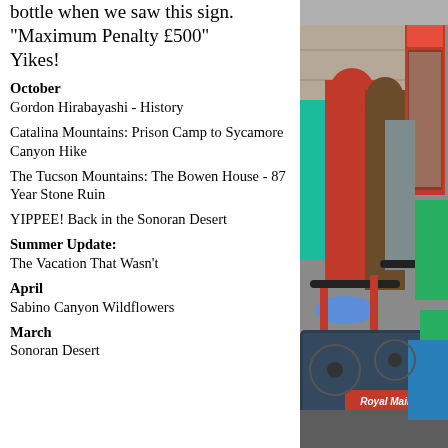bottle when we saw this sign. "Maximum Penalty £500" Yikes!
[Figure (photo): Group of people in rain gear standing with bicycles near a red telephone box and green/blue bins. In the foreground is a Royal Mail cargo bicycle with a large black tray.]
October Gordon Hirabayashi - History
Catalina Mountains: Prison Camp to Sycamore Canyon Hike
The Tucson Mountains: The Bowen House - 87 Year Stone Ruin
YIPPEE! Back in the Sonoran Desert
Summer Update: The Vacation That Wasn't
April Sabino Canyon Wildflowers
March Sonoran Desert